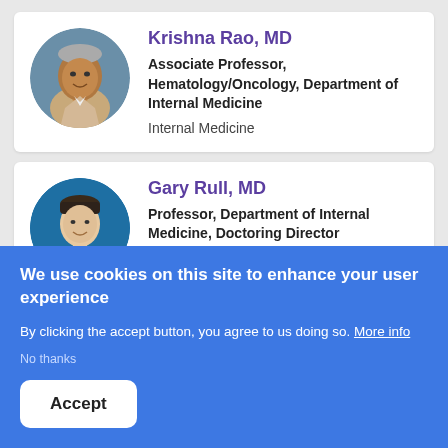[Figure (photo): Circular headshot photo of Krishna Rao, MD — an older man with gray hair]
Krishna Rao, MD
Associate Professor, Hematology/Oncology, Department of Internal Medicine
Internal Medicine
[Figure (photo): Circular headshot photo of Gary Rull, MD — a young man in a dark suit]
Gary Rull, MD
Professor, Department of Internal Medicine, Doctoring Director
We use cookies on this site to enhance your user experience
By clicking the accept button, you agree to us doing so. More info
No thanks